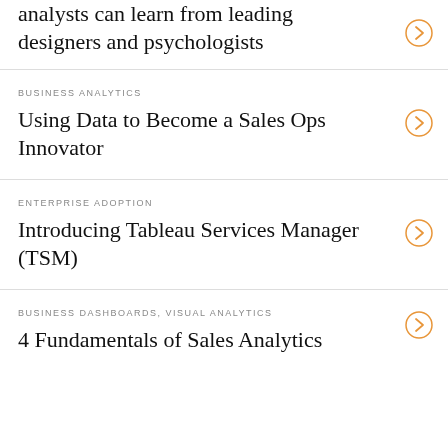analysts can learn from leading designers and psychologists
BUSINESS ANALYTICS
Using Data to Become a Sales Ops Innovator
ENTERPRISE ADOPTION
Introducing Tableau Services Manager (TSM)
BUSINESS DASHBOARDS, VISUAL ANALYTICS
4 Fundamentals of Sales Analytics